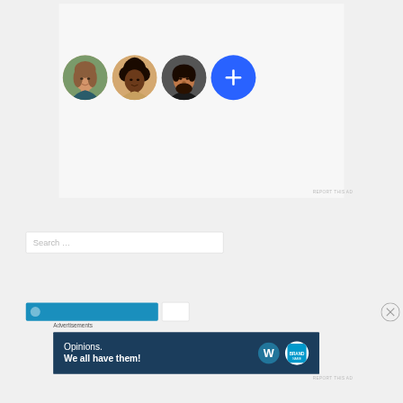[Figure (screenshot): UI screenshot showing a row of three circular avatar photos and a blue plus button circle]
REPORT THIS AD
[Figure (screenshot): Search input box with placeholder text 'Search ...']
Search ...
[Figure (screenshot): Blue button row at bottom partially visible]
Advertisements
[Figure (screenshot): Dark blue advertisement banner reading 'Opinions. We all have them!' with WordPress and Brand logos]
REPORT THIS AD